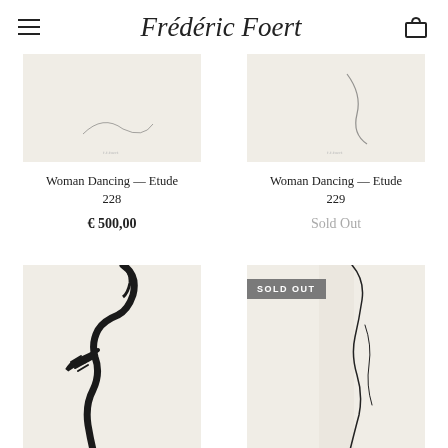Frédéric Foert
[Figure (illustration): Minimalist line-art sketch of a woman dancing - Etude 228, partial view showing lower portion on cream background]
[Figure (illustration): Minimalist line-art sketch of a woman dancing - Etude 229, partial view showing lower portion with curved line on cream background]
Woman Dancing — Etude 228
€ 500,00
Woman Dancing — Etude 229
Sold Out
[Figure (illustration): Minimalist bold line-art of a woman's profile and body, black flowing lines on cream background]
[Figure (illustration): Minimalist thin line-art of a woman's silhouette, curving vertical line on cream background, with SOLD OUT badge]